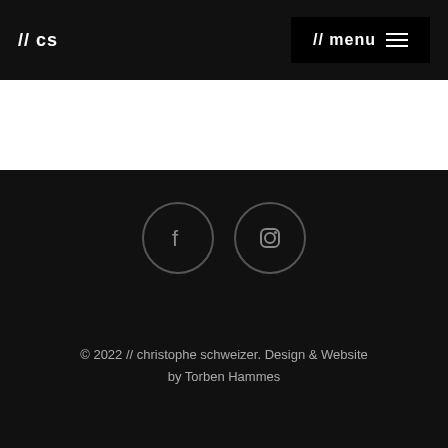// cs  // menu
© 2022 // christophe schweizer. Design & Website by Torben Hammes